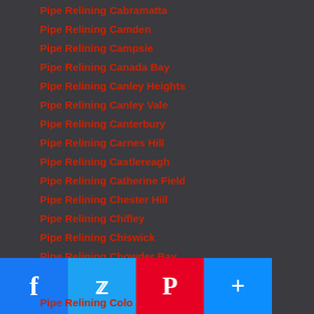Pipe Relining Cabramatta
Pipe Relining Camden
Pipe Relining Campsie
Pipe Relining Canada Bay
Pipe Relining Canley Heights
Pipe Relining Canley Vale
Pipe Relining Canterbury
Pipe Relining Carnes Hill
Pipe Relining Castlereagh
Pipe Relining Catherine Field
Pipe Relining Chester Hill
Pipe Relining Chifley
Pipe Relining Chiswick
Pipe Relining Chowder Bay
Pipe Relining Chullora
Pipe Relining Claymore
Pipe Relining Clovelly
Pipe Relining Colo